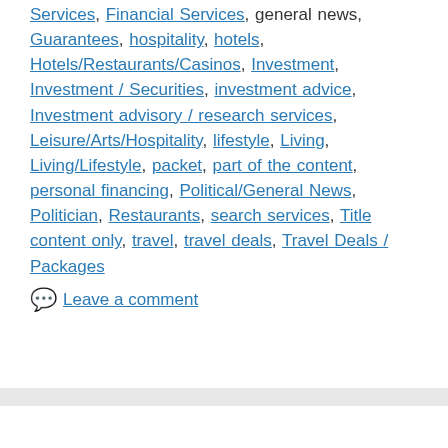Services, Financial Services, general news, Guarantees, hospitality, hotels, Hotels/Restaurants/Casinos, Investment, Investment / Securities, investment advice, Investment advisory / research services, Leisure/Arts/Hospitality, lifestyle, Living, Living/Lifestyle, packet, part of the content, personal financing, Political/General News, Politician, Restaurants, search services, Title content only, travel, travel deals, Travel Deals / Packages
Leave a comment